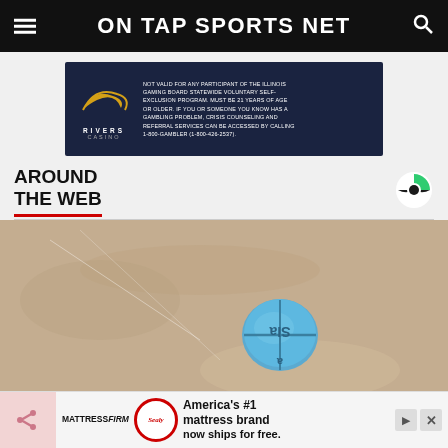ON TAP SPORTS NET
[Figure (photo): Rivers Casino advertisement on dark navy background with Rivers Casino logo (swoosh and text) on left, and disclaimer text on right about Illinois Gaming Board voluntary self-exclusion program.]
AROUND THE WEB
[Figure (photo): Close-up photo of a small round blue pill on a beige/tan surface, with markings on the pill.]
[Figure (photo): Bottom banner advertisement for MattressFirm featuring Sealy brand. Text reads: America's #1 mattress brand now ships for free.]